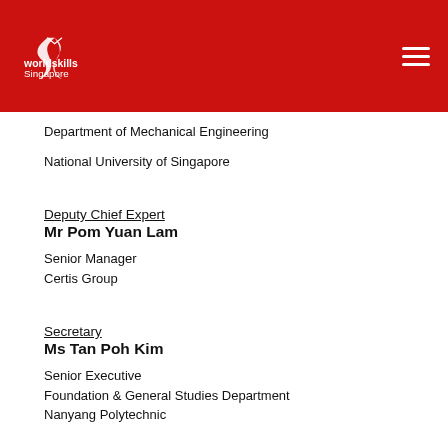[Figure (logo): WorldSkills Singapore logo in white on red background with hamburger menu icon]
Department of Mechanical Engineering
National University of Singapore
Deputy Chief Expert
Mr Pom Yuan Lam
Senior Manager
Certis Group
Secretary
Ms Tan Poh Kim
Senior Executive
Foundation & General Studies Department
Nanyang Polytechnic
Ex-Officio
Mr See Toh Kok Hwee